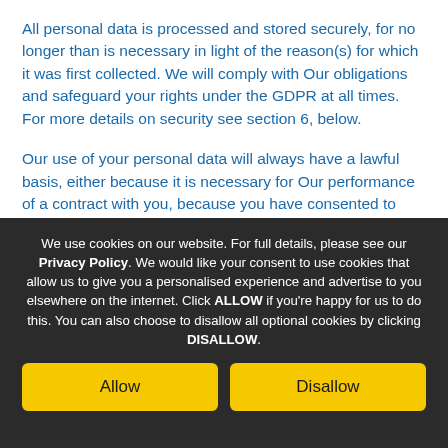All personal data is processed and stored securely, for no longer than is necessary in light of the reason(s) for which it was first collected. We will comply with Our obligations and safeguard your rights under the GDPR at all times. For more details on security see section 6, below.
Our use of your personal data will always have a lawful basis, either because it is necessary for Our performance of a contract with you, because you have consented to Our use of your personal data (e.g. by subscribing to emails), or because it is in Our legitimate interests...
We use cookies on our website. For full details, please see our Privacy Policy. We would like your consent to use cookies that allow us to give you a personalised experience and advertise to you elsewhere on the internet. Click ALLOW if you're happy for us to do this. You can also choose to disallow all optional cookies by clicking DISALLOW.